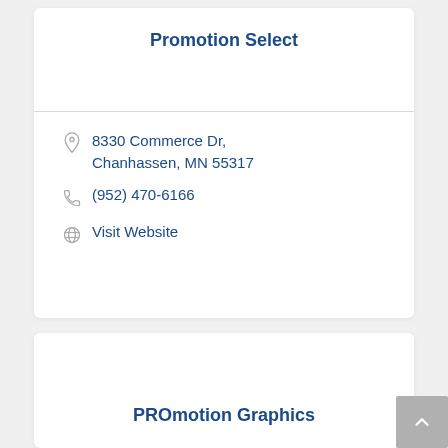Promotion Select
8330 Commerce Dr, Chanhassen, MN 55317
(952) 470-6166
Visit Website
PROmotion Graphics